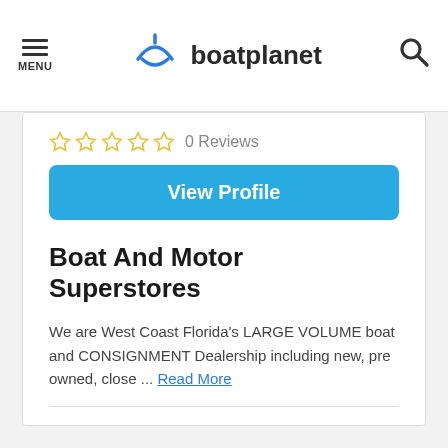MENU | boatplanet | search
0 Reviews
View Profile
Boat And Motor Superstores
We are West Coast Florida's LARGE VOLUME boat and CONSIGNMENT Dealership including new, pre owned, close ... Read More
Services: Marina Boat Repair / Boat Engine Service / Boat Sales / Outboard Motor Service / Boat Parts ...